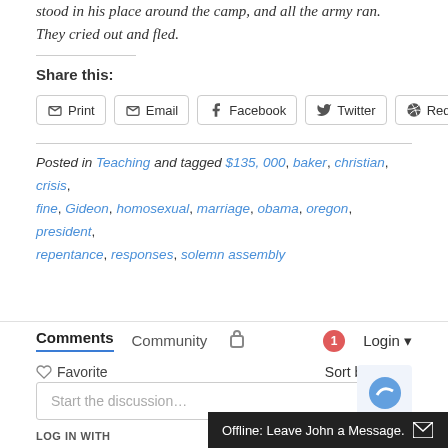stood in his place around the camp, and all the army ran. They cried out and fled.
Share this:
Print | Email | Facebook | Twitter | Reddit
Posted in Teaching and tagged $135, 000, baker, christian, crisis, fine, Gideon, homosexual, marriage, obama, oregon, president, repentance, responses, solemn assembly
Comments  Community  🔒  1  Login ▾
♡ Favorite   Sort by Best ▾
Start the discussion…
LOG IN WITH
Offline: Leave John a Message.